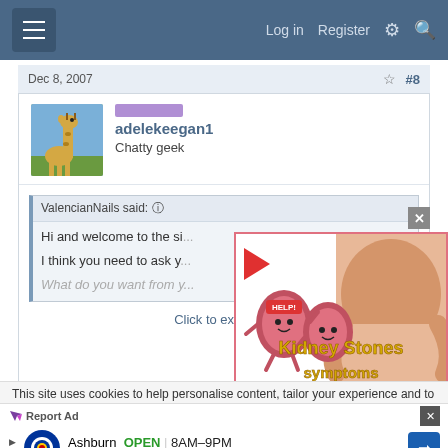Log in  Register
Dec 8, 2007  #8
adelekeegan1
Chatty geek
ValencianNails said:
Hi and welcome to the si...
I think you need to ask y...
What do you want from y...
[Figure (screenshot): Kidney Stones symptoms advertisement with cartoon kidney characters holding HELP signs and a person with back pain]
Click to expand...
This site uses cookies to help personalise content, tailor your experience and to
Report Ad
Ashburn  OPEN  8AM-9PM
44175 Ashbrook Marketplace Pl...